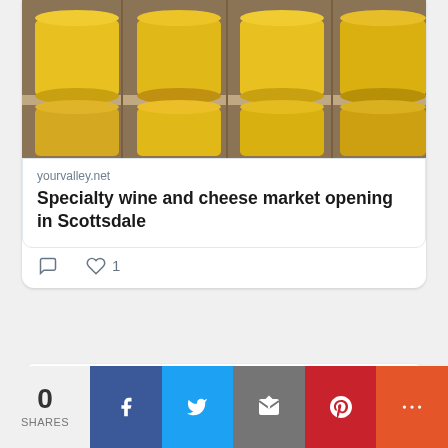[Figure (photo): Yellow cheese wheels on shelves in a cheese shop]
yourvalley.net
Specialty wine and cheese market opening in Scottsdale
◯  ♡ 1
Daily Independent @AzNewsmedia · 8h  The Bearded Barber in #Anthem has set a September opening date. #AZNEWSMEDIA yourvalley.net/anthem-indepen…
[Figure (photo): Partial image visible at bottom of second tweet]
0
SHARES
[Figure (infographic): Social share buttons: Facebook, Twitter, Email, Pinterest, More]